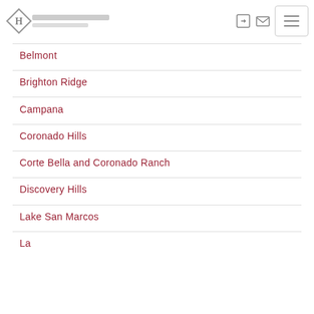Header with logo and navigation icons
Belmont
Brighton Ridge
Campana
Coronado Hills
Corte Bella and Coronado Ranch
Discovery Hills
Lake San Marcos